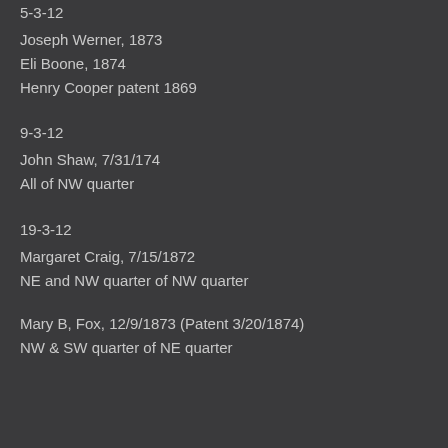5-3-12
Joseph Werner, 1873
Eli Boone, 1874
Henry Cooper patent 1869
9-3-12
John Shaw, 7/31/174
All of NW quarter
19-3-12
Margaret Craig, 7/15/1872
NE and NW quarter of NW quarter
Mary B, Fox, 12/9/1873 (Patent 3/20/1874)
NW & SW quarter of NE quarter